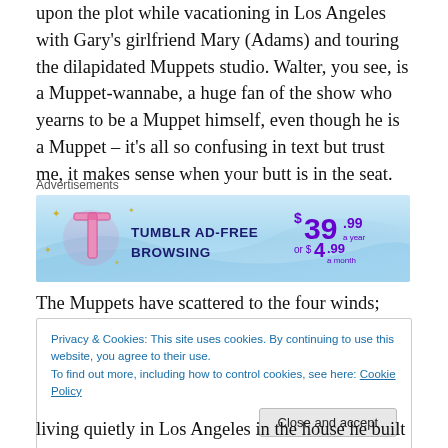upon the plot while vacationing in Los Angeles with Gary's girlfriend Mary (Adams) and touring the dilapidated Muppets studio. Walter, you see, is a Muppet-wannabe, a huge fan of the show who yearns to be a Muppet himself, even though he is a Muppet – it's all so confusing in text but trust me, it makes sense when your butt is in the seat.
[Figure (other): Tumblr Ad-Free Browsing advertisement banner: $39.99 a year or $4.99 a month]
The Muppets have scattered to the four winds; Fozzy is in
Privacy & Cookies: This site uses cookies. By continuing to use this website, you agree to their use.
To find out more, including how to control cookies, see here: Cookie Policy
living quietly in Los Angeles in the house he built for him